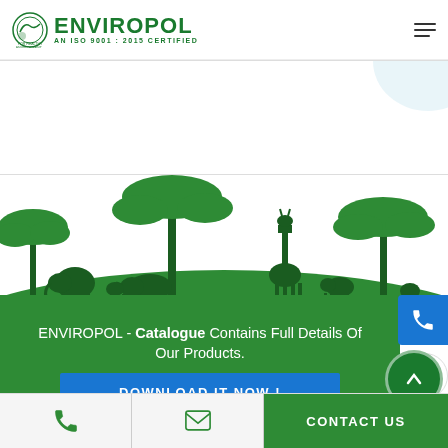[Figure (logo): Enviropol logo with green circular icon and text ENVIROPOL AN ISO 9001:2015 CERTIFIED]
[Figure (illustration): Light blue arc/circle decorative element in white banner area]
[Figure (illustration): Green silhouette wildlife scene with giraffes, elephants, rhinoceros, zebras, and acacia trees on a green hill]
ENVIROPOL - Catalogue Contains Full Details Of Our Products.
[Figure (other): Blue DOWNLOAD IT NOW! button]
[Figure (other): Right side floating action buttons: phone (blue), whatsapp, email (red), scroll-to-top (green)]
CONTACT US